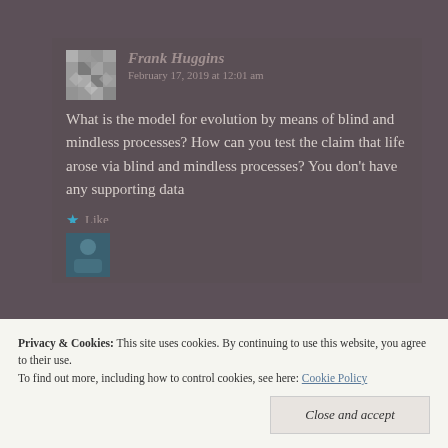Frank Huggins   February 17, 2019 at 12:01 am
What is the model for evolution by means of blind and mindless processes? How can you test the claim that life arose via blind and mindless processes? You don't have any supporting data
Like
Privacy & Cookies:  This site uses cookies. By continuing to use this website, you agree to their use.
To find out more, including how to control cookies, see here: Cookie Policy
Close and accept